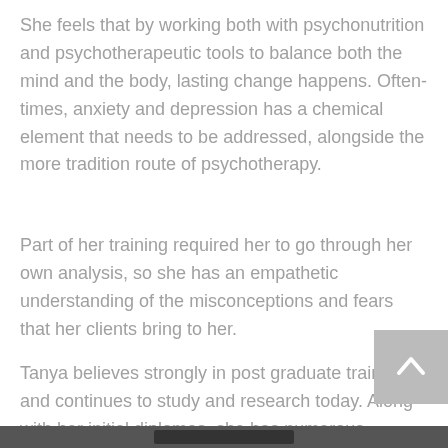She feels that by working both with psychonutrition and psychotherapeutic tools to balance both the mind and the body, lasting change happens. Oftentimes, anxiety and depression has a chemical element that needs to be addressed, alongside the more tradition route of psychotherapy.
Part of her training required her to go through her own analysis, so she has an empathetic understanding of the misconceptions and fears that her clients bring to her.
Tanya believes strongly in post graduate training and continues to study and research today. Along with her initial diplomas, she has numerous qualifications in advanced hypnotherapy and psychotherapy, hypnoanalysis, neuro linguistic … ming.  The